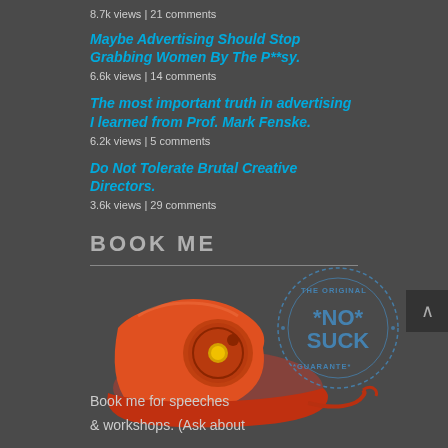8.7k views | 21 comments
Maybe Advertising Should Stop Grabbing Women By The P**sy.
6.6k views | 14 comments
The most important truth in advertising I learned from Prof. Mark Fenske.
6.2k views | 5 comments
Do Not Tolerate Brutal Creative Directors.
3.6k views | 29 comments
BOOK ME
[Figure (photo): Orange rotary telephone with a circular stamp overlay reading 'THE ORIGINAL NO SUCK GUARANTEE']
Book me for speeches & workshops. (Ask about